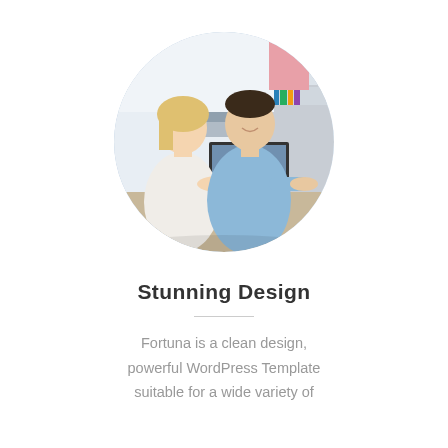[Figure (photo): Circular cropped photo of two office professionals, a blonde woman and a dark-haired man in a blue shirt, looking at and working on a laptop computer together in an office setting with shelves in the background.]
Stunning Design
Fortuna is a clean design, powerful WordPress Template suitable for a wide variety of